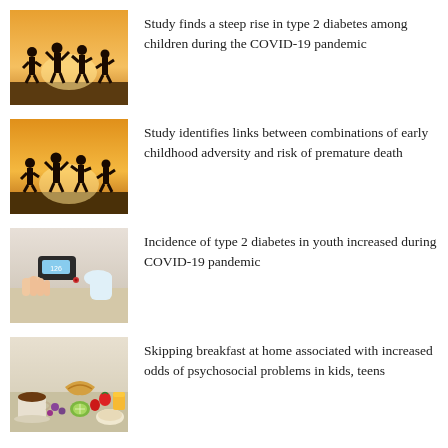[Figure (photo): Silhouettes of children jumping with arms raised against a warm golden sunset sky]
Study finds a steep rise in type 2 diabetes among children during the COVID-19 pandemic
[Figure (photo): Silhouettes of children jumping with arms raised against a warm golden sunset sky]
Study identifies links between combinations of early childhood adversity and risk of premature death
[Figure (photo): Close-up of hands using a blood glucose meter device]
Incidence of type 2 diabetes in youth increased during COVID-19 pandemic
[Figure (photo): Breakfast spread with croissants, fruits, berries, cereal, orange juice, coffee, and kiwi on a table]
Skipping breakfast at home associated with increased odds of psychosocial problems in kids, teens